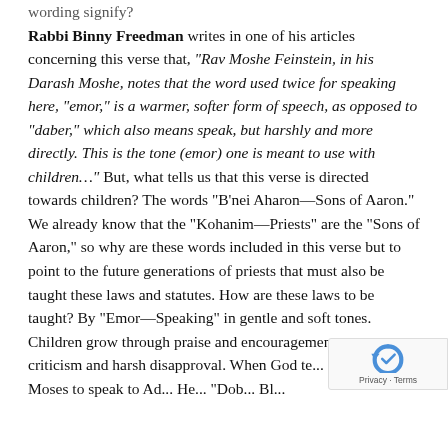wording signify? Rabbi Binny Freedman writes in one of his articles concerning this verse that, "Rav Moshe Feinstein, in his Darash Moshe, notes that the word used twice for speaking here, 'emor,' is a warmer, softer form of speech, as opposed to 'daber,' which also means speak, but harshly and more directly. This is the tone (emor) one is meant to use with children..." But, what tells us that this verse is directed towards children? The words "B'nei Aharon—Sons of Aaron." We already know that the "Kohanim—Priests" are the "Sons of Aaron," so why are these words included in this verse but to point to the future generations of priests that must also be taught these laws and statutes. How are these laws to be taught? By "Emor—Speaking" in gentle and soft tones. Children grow through praise and encouragement, not criticism and harsh disapproval. When God te...